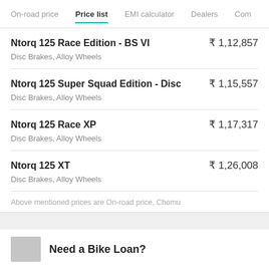On-road price | Price list | EMI calculator | Dealers | Com
| Model | Price |
| --- | --- |
| Ntorq 125 Race Edition - BS VI
Disc Brakes, Alloy Wheels | ₹ 1,12,857 |
| Ntorq 125 Super Squad Edition - Disc
Disc Brakes, Alloy Wheels | ₹ 1,15,557 |
| Ntorq 125 Race XP
Disc Brakes, Alloy Wheels | ₹ 1,17,317 |
| Ntorq 125 XT
Disc Brakes, Alloy Wheels | ₹ 1,26,008 |
Above mentioned prices are On-road price, Chomu
Need a Bike Loan?